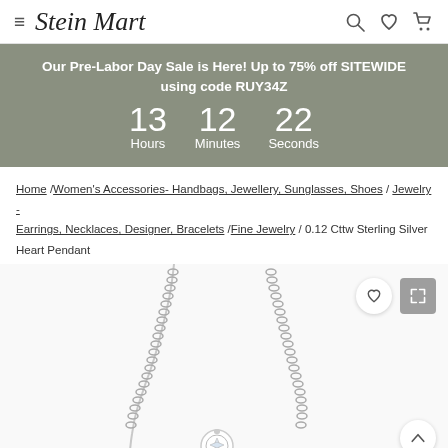Stein Mart
Our Pre-Labor Day Sale is Here! Up to 75% off SITEWIDE using code RUY34Z  13 Hours  12 Minutes  22 Seconds
Home / Women's Accessories- Handbags, Jewellery, Sunglasses, Shoes / Jewelry - Earrings, Necklaces, Designer, Bracelets / Fine Jewelry / 0.12 Cttw Sterling Silver Heart Pendant
[Figure (photo): Product photo of a sterling silver heart pendant necklace with chain and diamond accent, shown on white background]